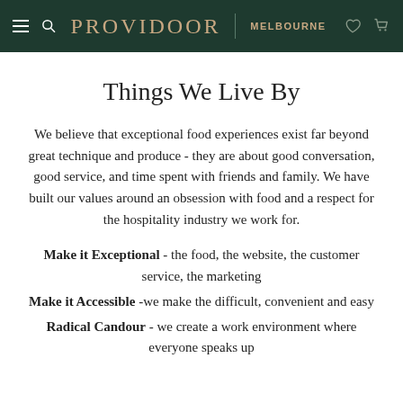PROVIDOOR | MELBOURNE
Things We Live By
We believe that exceptional food experiences exist far beyond great technique and produce - they are about good conversation, good service, and time spent with friends and family. We have built our values around an obsession with food and a respect for the hospitality industry we work for.
Make it Exceptional - the food, the website, the customer service, the marketing
Make it Accessible -we make the difficult, convenient and easy
Radical Candour - we create a work environment where everyone speaks up